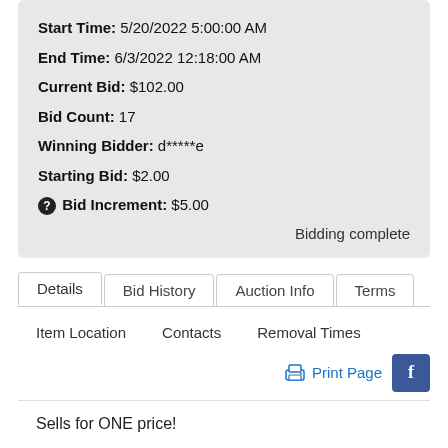Start Time: 5/20/2022 5:00:00 AM
End Time: 6/3/2022 12:18:00 AM
Current Bid: $102.00
Bid Count: 17
Winning Bidder: d*****e
Starting Bid: $2.00
Bid Increment: $5.00
Bidding complete
Details	Bid History	Auction Info	Terms
Item Location	Contacts	Removal Times
Print Page
Sells for ONE price!